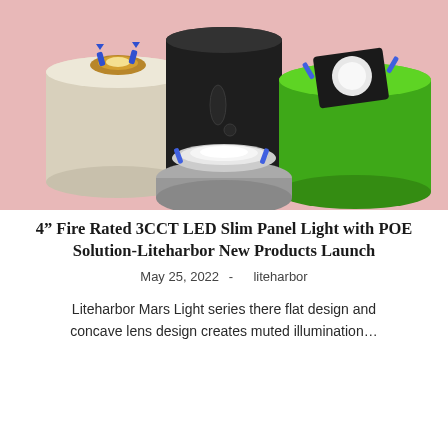[Figure (photo): Product photo showing three cylindrical display stands (cream/white, dark charcoal/black, and bright green) on a pink background, with LED slim panel light fixtures placed on top of each cylinder — a gold-trimmed round fixture on the cream cylinder, a black square fixture on the green cylinder, and a white round recessed fixture in the center foreground on a gray platform.]
4” Fire Rated 3CCT LED Slim Panel Light with POE Solution-Liteharbor New Products Launch
May 25, 2022 -    liteharbor
Liteharbor Mars Light series there flat design and concave lens design creates muted illumination…